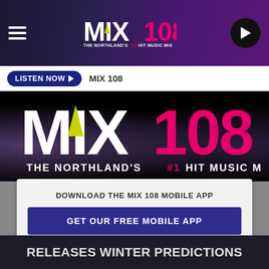[Figure (logo): MIX 108 radio station top navigation bar with hamburger menu, MIX 108 logo (The Northland's #1 Hit Music Mix), and play button]
LISTEN NOW ▶   MIX 108
[Figure (logo): Large MIX 108 logo on dark background with tagline: THE NORTHLAND'S #1 HIT MUSIC MIX]
DOWNLOAD THE MIX 108 MOBILE APP
GET OUR FREE MOBILE APP
Also listen on:  amazon alexa
RELEASES WINTER PREDICTIONS